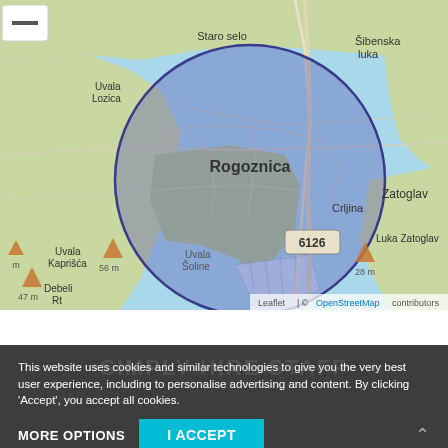[Figure (map): Interactive map showing Rogoznica area in Croatia with a circular blue/purple overlay centered on Rogoznica and Crljina, with road number 6126. Surrounding areas include Staro selo, Uvala Lozica, Uvala Kaprišća, Zatoglav, Luka Zatoglav, Debeli Rt. Elevation markers: 47m, 56m, 28m. Map credit: Leaflet | © OpenStreetMap contributors.]
This website uses cookies and similar technologies to give you the very best user experience, including to personalise advertising and content. By clicking 'Accept', you accept all cookies.
MORE OPTIONS
I ACCEPT